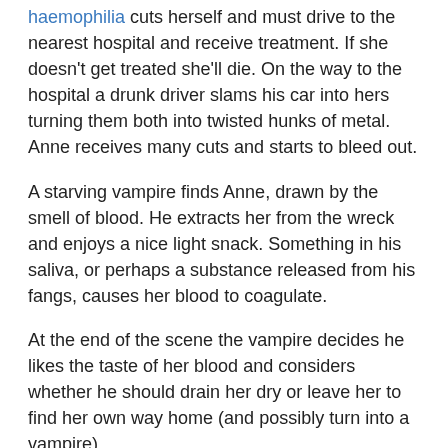haemophilia cuts herself and must drive to the nearest hospital and receive treatment. If she doesn't get treated she'll die. On the way to the hospital a drunk driver slams his car into hers turning them both into twisted hunks of metal. Anne receives many cuts and starts to bleed out.
A starving vampire finds Anne, drawn by the smell of blood. He extracts her from the wreck and enjoys a nice light snack. Something in his saliva, or perhaps a substance released from his fangs, causes her blood to coagulate.
At the end of the scene the vampire decides he likes the taste of her blood and considers whether he should drain her dry or leave her to find her own way home (and possibly turn into a vampire).
The Elements That Drive Your Plot
POV: The young woman, Anne.
Narrative point of view: Third person subjective, also called third person limited.